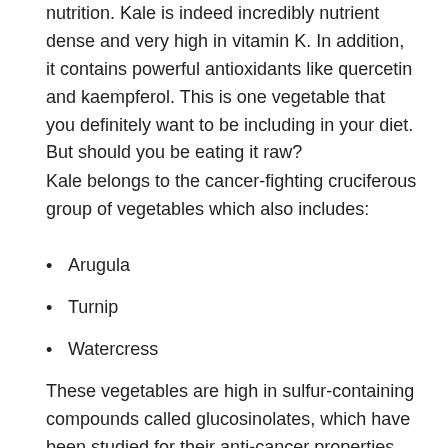nutrition. Kale is indeed incredibly nutrient dense and very high in vitamin K. In addition, it contains powerful antioxidants like quercetin and kaempferol. This is one vegetable that you definitely want to be including in your diet. But should you be eating it raw?
Kale belongs to the cancer-fighting cruciferous group of vegetables which also includes:
Arugula
Turnip
Watercress
These vegetables are high in sulfur-containing compounds called glucosinolates, which have been studied for their anti-cancer properties.